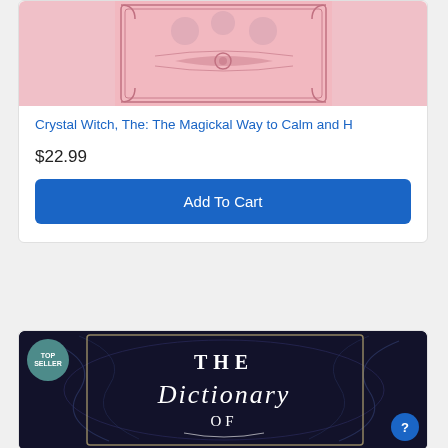[Figure (photo): Pink book cover for 'Crystal Witch, The: The Magickal Way to Calm and H' with decorative border and dot pattern]
Crystal Witch, The: The Magickal Way to Calm and H
$22.99
Add To Cart
[Figure (photo): Dark navy/black book cover for 'The Dictionary of...' with ornate white typography and floral scrollwork design, featuring a TOP SELLER badge]
TOP SELLER